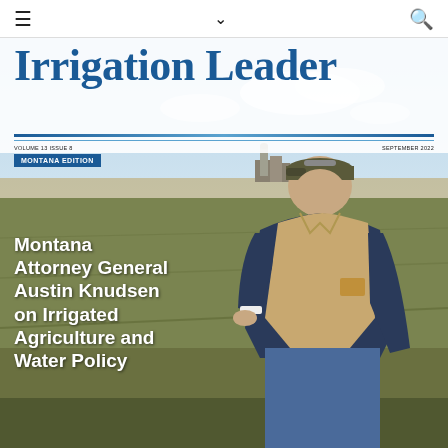≡  ∨  🔍
Irrigation Leader
VOLUME 13 ISSUE 8
SEPTEMBER 2022
MONTANA EDITION
[Figure (photo): Man in baseball cap, vest, and blue hoodie crouching in a farm field with flat agricultural landscape and farm buildings in the background under a partly cloudy sky. Cover photo for Irrigation Leader magazine, Montana Edition, September 2022.]
Montana Attorney General Austin Knudsen on Irrigated Agriculture and Water Policy